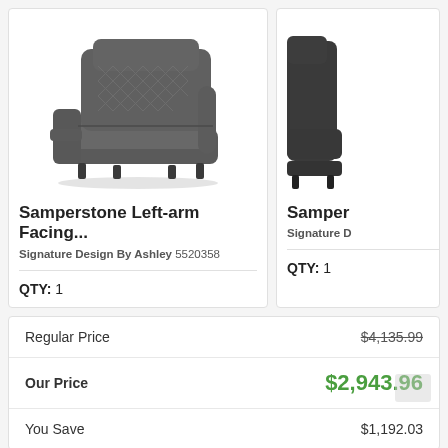[Figure (photo): Gray leather Samperstone left-arm facing recliner chair with diamond-stitched back]
Samperstone Left-arm Facing...
Signature Design By Ashley 5520358
QTY: 1
[Figure (photo): Partial view of second Samperstone recliner (right edge cropped)]
Samper
Signature D
QTY: 1
|  |  |
| --- | --- |
| Regular Price | $4,135.99 |
| Our Price | $2,943.96 |
| You Save | $1,192.03 |